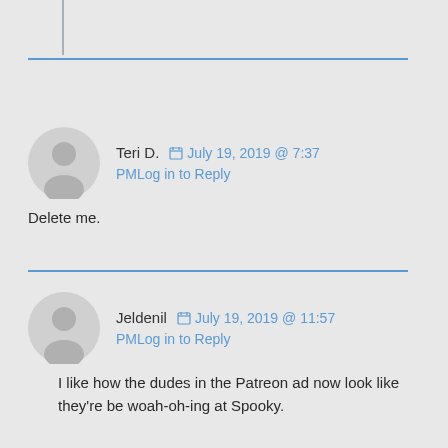Teri D.  July 19, 2019 @ 7:37
PMLog in to Reply
Delete me.
Jeldenil  July 19, 2019 @ 11:57
PMLog in to Reply
I like how the dudes in the Patreon ad now look like they're be woah-oh-ing at Spooky.